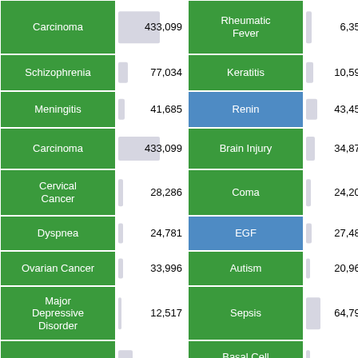| Disease/Condition | Count | Disease/Condition | Count | Rank | Color |
| --- | --- | --- | --- | --- | --- |
| Carcinoma | 433,099 | Rheumatic Fever | 6,356 | 3 | orange |
| Schizophrenia | 77,034 | Keratitis | 10,599 | 1 | orange |
| Meningitis | 41,685 | Renin | 43,456 | 3 | gold |
| Carcinoma | 433,099 | Brain Injury | 34,874 | 24 | lime |
| Cervical Cancer | 28,286 | Coma | 24,208 | 1 | orange |
| Dyspnea | 24,781 | EGF | 27,487 | 1 | orange |
| Ovarian Cancer | 33,996 | Autism | 20,962 | 1 | orange |
| Major Depressive Disorder | 12,517 | Sepsis | 64,798 | 1 | orange |
| Anxiety | 113,510 | Basal Cell Carcinoma | 7,953 | 1 | orange |
| Deep Vein Thrombosis | 10,952 | Schizophrenia | 77,034 | 1 | orange |